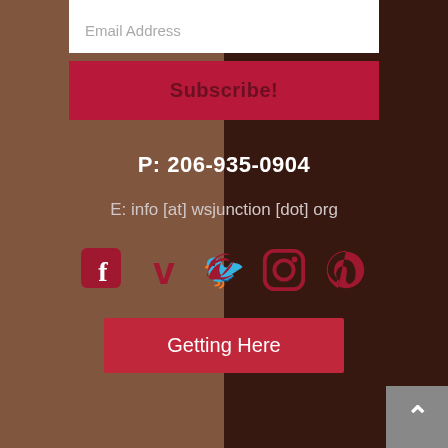Email Address
Subscribe!
P: 206-935-0904
E: info [at] wsjunction [dot] org
[Figure (infographic): Social media icons: Facebook, Vimeo, Twitter, Instagram, Pinterest — all in crimson/dark red color]
Getting Here